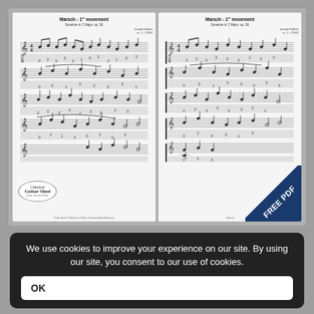[Figure (illustration): Two side-by-side sheet music pages for 'Marsch - 1st movement' from Sonatine in C Major, op. 36 by Joseph Küffner, arranged for classical guitar with standard notation and tablature. The left page shows a Classical Guitar Shed logo with oval border. The right page has a blue triangle banner in the bottom-right corner reading 'FREE PDF'.]
We use cookies to improve your experience on our site. By using our site, you consent to our use of cookies.
OK